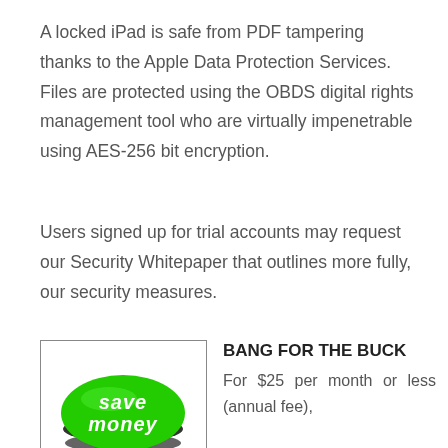A locked iPad is safe from PDF tampering thanks to the Apple Data Protection Services. Files are protected using the OBDS digital rights management tool who are virtually impenetrable using AES-256 bit encryption.
Users signed up for trial accounts may request our Security Whitepaper that outlines more fully, our security measures.
[Figure (photo): A green circular button labeled 'save money' in white text, with a dark shadow base beneath it, contained in a white bordered box.]
BANG FOR THE BUCK
For $25 per month or less (annual fee),